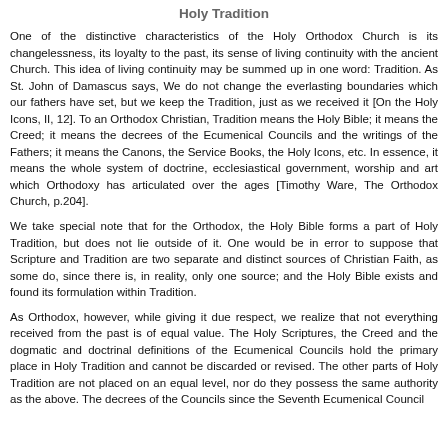Holy Tradition
One of the distinctive characteristics of the Holy Orthodox Church is its changelessness, its loyalty to the past, its sense of living continuity with the ancient Church. This idea of living continuity may be summed up in one word: Tradition. As St. John of Damascus says, We do not change the everlasting boundaries which our fathers have set, but we keep the Tradition, just as we received it [On the Holy Icons, II, 12]. To an Orthodox Christian, Tradition means the Holy Bible; it means the Creed; it means the decrees of the Ecumenical Councils and the writings of the Fathers; it means the Canons, the Service Books, the Holy Icons, etc. In essence, it means the whole system of doctrine, ecclesiastical government, worship and art which Orthodoxy has articulated over the ages [Timothy Ware, The Orthodox Church, p.204].
We take special note that for the Orthodox, the Holy Bible forms a part of Holy Tradition, but does not lie outside of it. One would be in error to suppose that Scripture and Tradition are two separate and distinct sources of Christian Faith, as some do, since there is, in reality, only one source; and the Holy Bible exists and found its formulation within Tradition.
As Orthodox, however, while giving it due respect, we realize that not everything received from the past is of equal value. The Holy Scriptures, the Creed and the dogmatic and doctrinal definitions of the Ecumenical Councils hold the primary place in Holy Tradition and cannot be discarded or revised. The other parts of Holy Tradition are not placed on an equal level, nor do they possess the same authority as the above. The decrees of the Councils since the Seventh Ecumenical Council